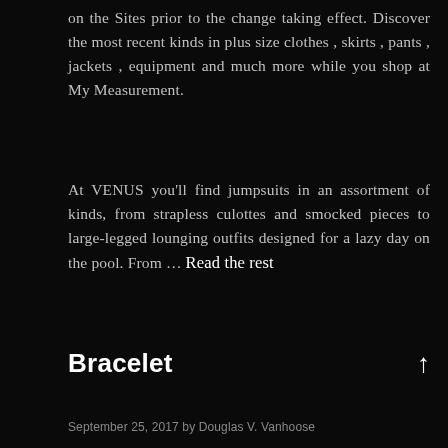on the Sites prior to the change taking effect. Discover the most recent kinds in plus size clothes , skirts , pants , jackets , equipment and much more while you shop at My Measurement.
At VENUS you'll find jumpsuits in an assortment of kinds, from strapless culottes and smocked pieces to large-legged lounging outfits designed for a lazy day on the pool. From … Read the rest
Bracelet
September 25, 2017 by Douglas V. Vanhoose